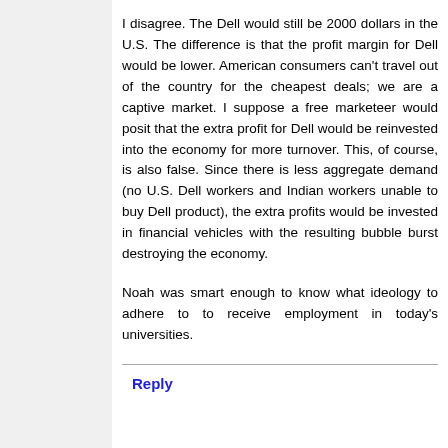I disagree. The Dell would still be 2000 dollars in the U.S. The difference is that the profit margin for Dell would be lower. American consumers can't travel out of the country for the cheapest deals; we are a captive market. I suppose a free marketeer would posit that the extra profit for Dell would be reinvested into the economy for more turnover. This, of course, is also false. Since there is less aggregate demand (no U.S. Dell workers and Indian workers unable to buy Dell product), the extra profits would be invested in financial vehicles with the resulting bubble burst destroying the economy.
Noah was smart enough to know what ideology to adhere to to receive employment in today's universities.
Reply